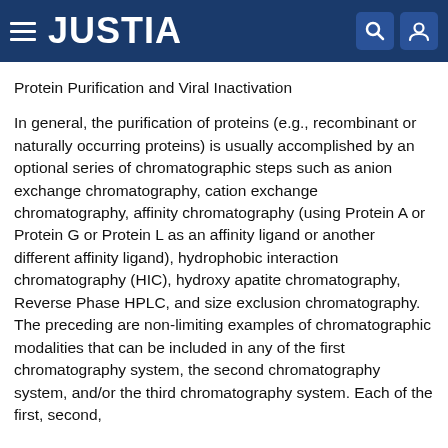JUSTIA
Protein Purification and Viral Inactivation
In general, the purification of proteins (e.g., recombinant or naturally occurring proteins) is usually accomplished by an optional series of chromatographic steps such as anion exchange chromatography, cation exchange chromatography, affinity chromatography (using Protein A or Protein G or Protein L as an affinity ligand or another different affinity ligand), hydrophobic interaction chromatography (HIC), hydroxy apatite chromatography, Reverse Phase HPLC, and size exclusion chromatography. The preceding are non-limiting examples of chromatographic modalities that can be included in any of the first chromatography system, the second chromatography system, and/or the third chromatography system. Each of the first, second,